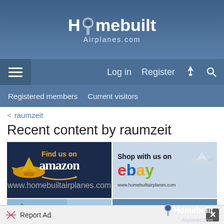Homebuilt Airplanes.com
[Figure (screenshot): Navigation bar with hamburger menu, Log in, Register, lightning bolt and search icons]
[Figure (screenshot): Sub-navigation: Registered members | Current visitors]
< raumzeit
Recent content by raumzeit
[Figure (screenshot): Amazon ad: Find us on amazon with yellow airplane illustration, www.homebuiltairplanes.com]
[Figure (screenshot): eBay ad: Shop with us on ebay with airplane photo, www.homebuiltairplanes.com]
[Figure (screenshot): Battery advertisement with airplane and text THEY REALLY]
[Figure (screenshot): Homebuilt Airplanes.com advertise banner with airplane over green fields]
Report Ad